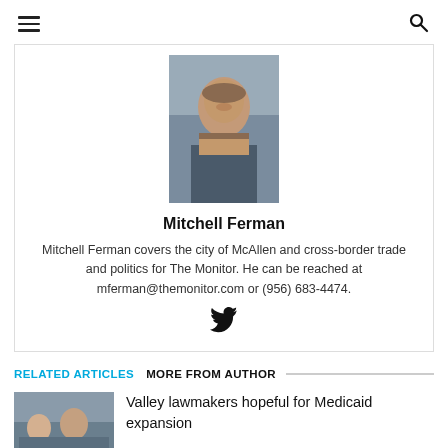Navigation header with hamburger menu and search icon
[Figure (photo): Headshot photo of Mitchell Ferman, a young man with a beard wearing a plaid shirt and dark jacket]
Mitchell Ferman
Mitchell Ferman covers the city of McAllen and cross-border trade and politics for The Monitor. He can be reached at mferman@themonitor.com or (956) 683-4474.
[Figure (logo): Twitter bird icon]
RELATED ARTICLES  MORE FROM AUTHOR
Valley lawmakers hopeful for Medicaid expansion
[Figure (photo): Thumbnail photo for article about Valley lawmakers and Medicaid expansion]